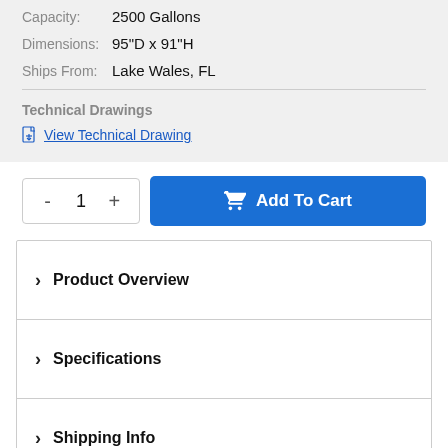Capacity: 2500 Gallons
Dimensions: 95"D x 91"H
Ships From: Lake Wales, FL
Technical Drawings
View Technical Drawing
- 1 + Add To Cart
Product Overview
Specifications
Shipping Info